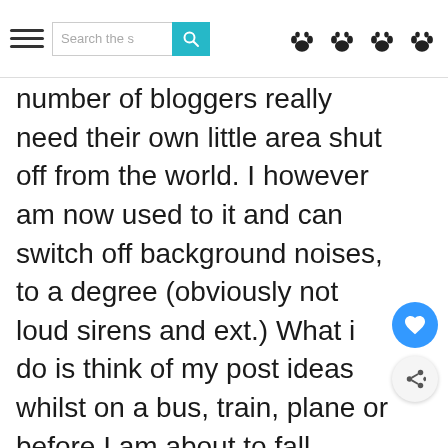Search the s [search button] [paw icons]
number of bloggers really need their own little area shut off from the world. I however am now used to it and can switch off background noises, to a degree (obviously not loud sirens and ext.) What i do is think of my post ideas whilst on a bus, train, plane or before I am about to fall asleep and I write a paragraph or two on my smartphone. Once it comes time to writing them I flip up my laptop put my head back